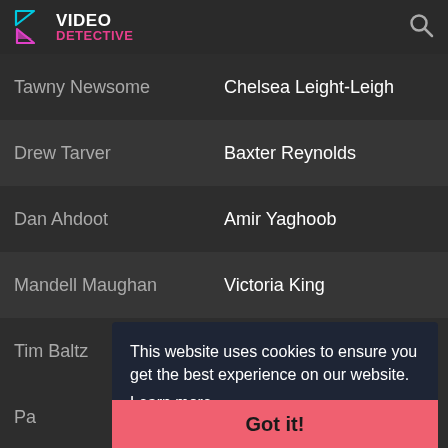VIDEO DETECTIVE
| Actor | Character |
| --- | --- |
| Tawny Newsome | Chelsea Leight-Leigh |
| Drew Tarver | Baxter Reynolds |
| Dan Ahdoot | Amir Yaghoob |
| Mandell Maughan | Victoria King |
| Tim Baltz | Glenn Bouchard |
| Pa... | ... |
| Ry... | ... |
| Eu... | ... |
| Ro... | ... |
This website uses cookies to ensure you get the best experience on our website. Learn more
Got it!